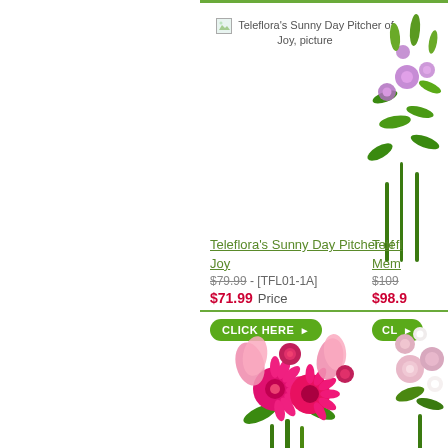[Figure (photo): Teleflora's Sunny Day Pitcher of Joy flower arrangement product image placeholder with text label]
[Figure (photo): Teleflora partial product - purple/green flower arrangement partially visible on right edge]
Teleflora's Sunny Day Pitcher of Joy
$79.99 - [TFL01-1A]
$71.99  Price
CLICK HERE
Telefl...
Mem...
$109...
$98.9...
CL...
[Figure (photo): Hot pink and magenta floral bouquet with gerbera daisies, lilies, and roses]
[Figure (photo): Soft pink and white flower arrangement partially visible on right edge]